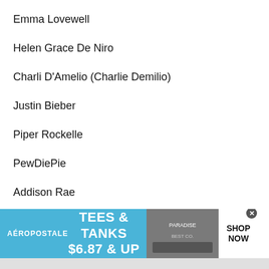Emma Lovewell
Helen Grace De Niro
Charli D'Amelio (Charlie Demilio)
Justin Bieber
Piper Rockelle
PewDiePie
Addison Rae
Dixie D'Amelio
[Figure (other): Aeropostale advertisement banner: TEES & TANKS $6.87 & UP with SHOP NOW button]